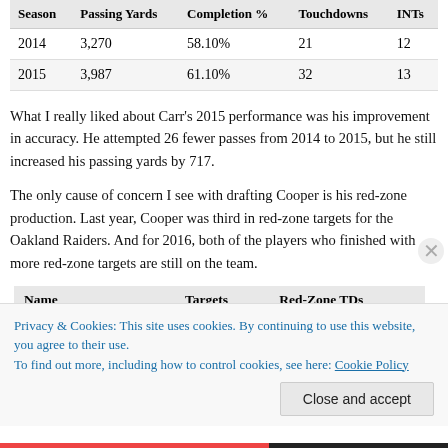| Season | Passing Yards | Completion % | Touchdowns | INTs |
| --- | --- | --- | --- | --- |
| 2014 | 3,270 | 58.10% | 21 | 12 |
| 2015 | 3,987 | 61.10% | 32 | 13 |
What I really liked about Carr's 2015 performance was his improvement in accuracy. He attempted 26 fewer passes from 2014 to 2015, but he still increased his passing yards by 717.
The only cause of concern I see with drafting Cooper is his red-zone production. Last year, Cooper was third in red-zone targets for the Oakland Raiders. And for 2016, both of the players who finished with more red-zone targets are still on the team.
| Name | Targets | Red-Zone TDs |
| --- | --- | --- |
Privacy & Cookies: This site uses cookies. By continuing to use this website, you agree to their use.
To find out more, including how to control cookies, see here: Cookie Policy